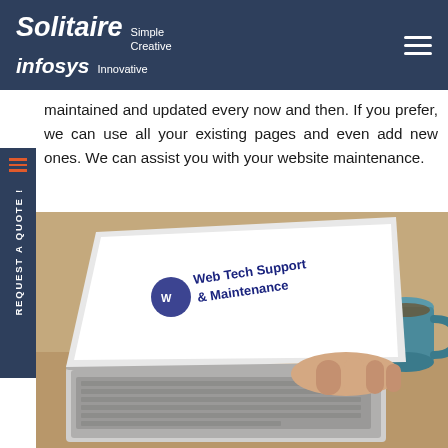Solitaire infosys — Simple Creative Innovative
maintained and updated every now and then. If you prefer, we can use all your existing pages and even add new ones. We can assist you with your website maintenance.
[Figure (photo): Person typing on a laptop at a desk. The laptop screen shows the text 'Web Tech Support & Maintenance' with a logo. Books and a coffee mug are visible in the background.]